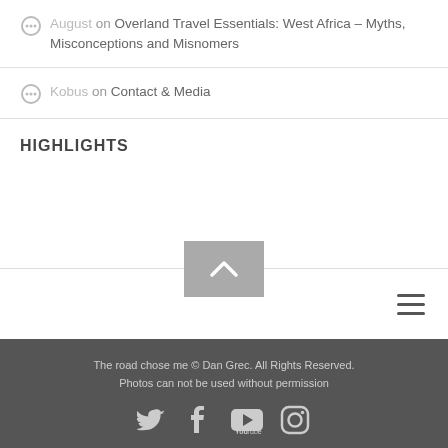August on Overland Travel Essentials: West Africa – Myths, Misconceptions and Misnomers
Kobus on Contact & Media
HIGHLIGHTS
The road chose me © Dan Grec. All Rights Reserved. Photos can not be used without permission